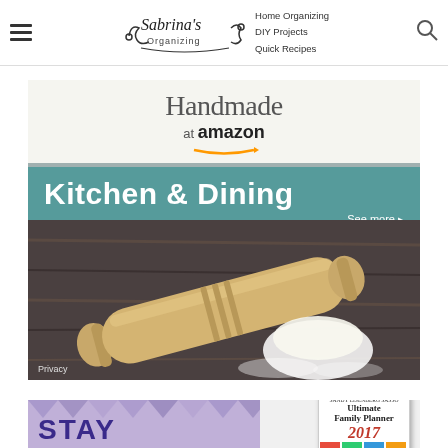Sabrina's Organizing — Home Organizing, DIY Projects, Quick Recipes
[Figure (photo): Handmade at Amazon advertisement banner for Kitchen & Dining featuring a wooden rolling pin and flour dough on a dark wooden surface. Text reads 'Handmade at amazon — Kitchen & Dining — See more'. Privacy label in bottom left.]
[Figure (photo): Partially visible advertisement for Ultimate Family Planner 2017, with purple geometric diamond background and 'STAY' text visible at bottom. Planner book cover shown on right side.]